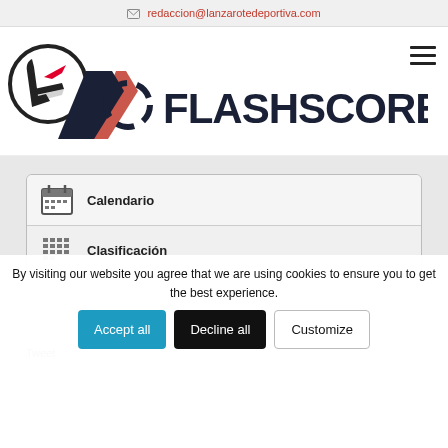redaccion@lanzarotedeportiva.com
[Figure (logo): Lanzarote Deportiva circular logo with stylized L letter in black and red on white background]
[Figure (logo): Flashscore logo with dark arrow/slash graphic and FLASHSCORE text in dark navy block letters]
Calendario
Clasificación
By visiting our website you agree that we are using cookies to ensure you to get the best experience.
Accept all
Decline all
Customize
Tweet